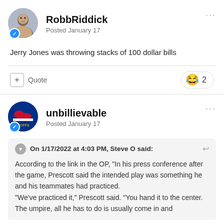[Figure (photo): User avatar for RobbRiddick showing a person's photo in a circular frame with a blue badge]
RobbRiddick
Posted January 17
Jerry Jones was throwing stacks of 100 dollar bills
+ Quote   😂 2
[Figure (logo): Buffalo Bills logo avatar for user unbillievable with blue badge]
unbillievable
Posted January 17
On 1/17/2022 at 4:03 PM, Steve O said:
According to the link in the OP, "In his press conference after the game, Prescott said the intended play was something he and his teammates had practiced. "We've practiced it," Prescott said. "You hand it to the center. The umpire, all he has to do is usually come in and